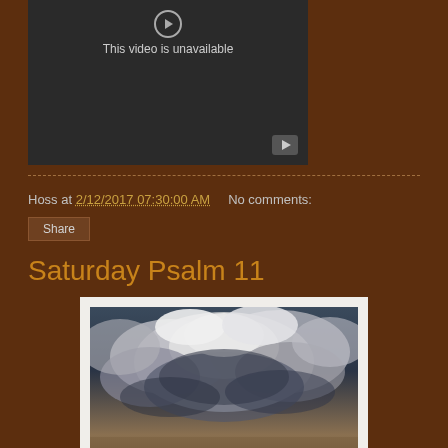[Figure (screenshot): Dark video player showing 'This video is unavailable' message with a play button icon]
Hoss at 2/12/2017 07:30:00 AM   No comments:
Share
Saturday Psalm 11
[Figure (photo): Dramatic stormy sky with dark and light clouds swirling]
Lord, I take refuge in you...